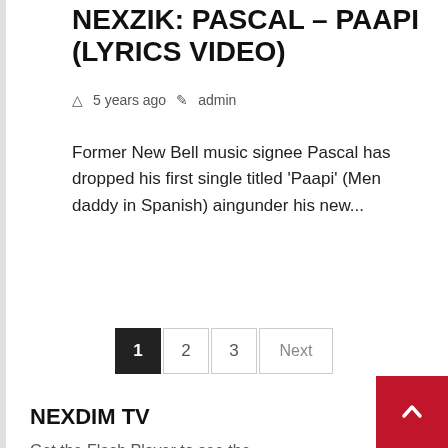NEXZIK: PASCAL – PAAPI (LYRICS VIDEO)
5 years ago   admin
Former New Bell music signee Pascal has dropped his first single titled 'Paapi' (Men daddy in Spanish) aingunder his new...
1  2  3  Next
NEXDIM TV
Get the Flash Player to see the wordTube Media Player.